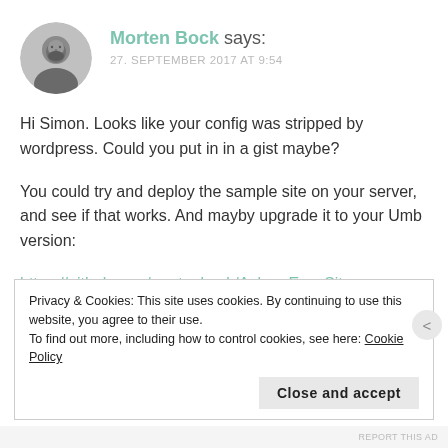[Figure (photo): Circular avatar photo of Morten Bock, a bearded man in grayscale]
Morten Bock says:
27. SEPTEMBER 2017 AT 9:54
Hi Simon. Looks like your config was stripped by wordpress. Could you put in in a gist maybe?

You could try and deploy the sample site on your server, and see if that works. And mayby upgrade it to your Umb version:

https://github.com/mortenbock/AchmeErrorSite
Privacy & Cookies: This site uses cookies. By continuing to use this website, you agree to their use.
To find out more, including how to control cookies, see here: Cookie Policy

Close and accept
REPORT THIS AD